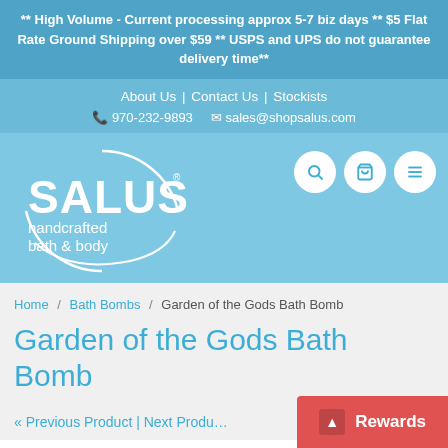** High Volume - Current processing approx 5-7 biz days ** $5 Flat Rate Ground Shipping over $59 ** USPS and UPS do not guarantee delivery time**
About Us | Contact Us | Stockists
970-232-9893  sales@shopsalus.com
[Figure (logo): SALUS handcrafted bath & body logo — white circular line design with bold SALUS text]
Breadcrumb: Home / Bath Bombs / Garden of the Gods Bath Bomb
Garden of the Gods Bath Bomb
« Previous Product | Next Product